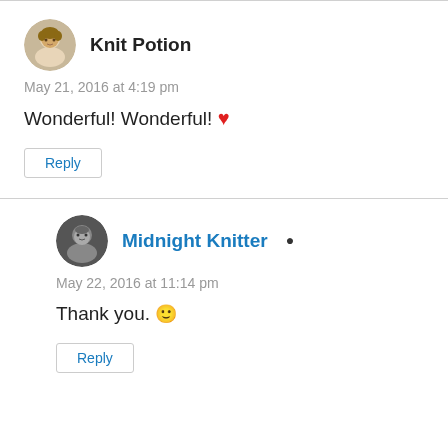[Figure (illustration): Horizontal divider line]
Knit Potion — May 21, 2016 at 4:19 pm — Wonderful! Wonderful! ❤ — Reply
[Figure (illustration): Horizontal divider line]
Midnight Knitter — May 22, 2016 at 11:14 pm — Thank you. 🙂 — Reply